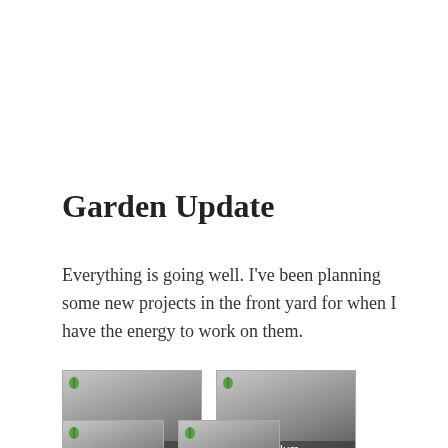Garden Update
Everything is going well. I’ve been planning some new projects in the front yard for when I have the energy to work on them.
[Figure (photo): Thumbnail image labeled Vines]
[Figure (photo): Thumbnail image labeled Hurr]
[Figure (photo): Small thumbnail image (unlabeled)]
[Figure (photo): Small thumbnail image (unlabeled)]